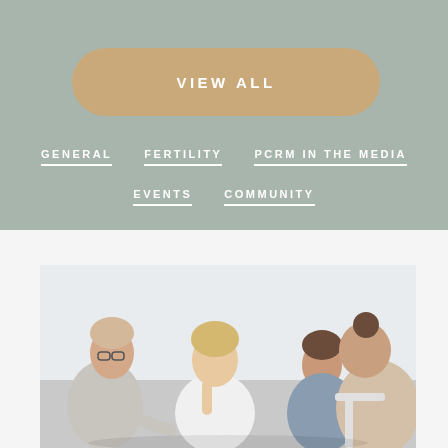VIEW ALL
GENERAL
FERTILITY
PCRM IN THE MEDIA
EVENTS
COMMUNITY
[Figure (photo): Four women seated in a circle in a group therapy or support group session. An older woman with glasses on the left appears to be speaking, a younger blonde woman sits next to her looking down, while two more women sit across, one partially visible and one with her back to the camera wearing a beige top.]